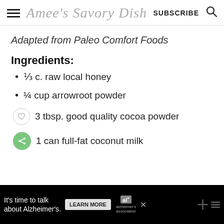Amee's Savory Dish  SUBSCRIBE
Adapted from Paleo Comfort Foods
Ingredients:
⅓ c. raw local honey
¼ cup arrowroot powder
3 tbsp. good quality cocoa powder
1 can full-fat coconut milk
[Figure (infographic): Advertisement banner: It's time to talk about Alzheimer's. Learn More button, Alzheimer's Association logo.]